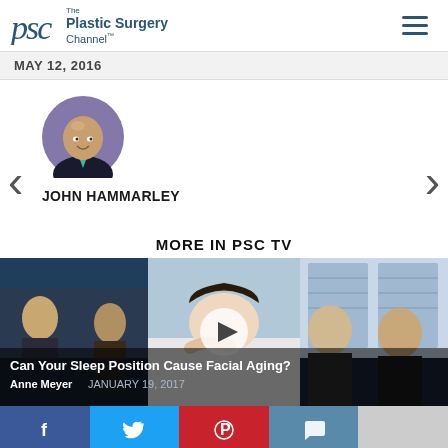PSC The Plastic Surgery Channel
MAY 12, 2016
[Figure (photo): Circular avatar photo of John Hammarley, a bald man wearing a dark jacket and teal tie, against a purple background]
JOHN HAMMARLEY
MORE IN PSC TV
[Figure (screenshot): Video thumbnail strip showing three panels: left panel with two people in a TV studio setting, center panel with a woman sleeping with a play button overlay, right panel with two older men in a TV studio. Overlay text reads 'Can Your Sleep Position Cause Facial Aging?' by Anne Meyer, JANUARY 19, 2017]
Can Your Sleep Position Cause Facial Aging? Anne Meyer  JANUARY 19, 2017
[Figure (infographic): Social share bar with Facebook, Twitter, Pinterest, and comment icons]